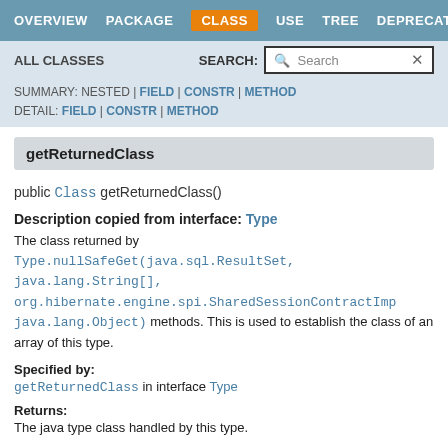OVERVIEW  PACKAGE  CLASS  USE  TREE  DEPRECATED
ALL CLASSES  SEARCH:
SUMMARY: NESTED | FIELD | CONSTR | METHOD
DETAIL: FIELD | CONSTR | METHOD
getReturnedClass
public Class getReturnedClass()
Description copied from interface: Type
The class returned by Type.nullSafeGet(java.sql.ResultSet, java.lang.String[], org.hibernate.engine.spi.SharedSessionContractImp java.lang.Object) methods. This is used to establish the class of an array of this type.
Specified by:
getReturnedClass in interface Type
Returns:
The java type class handled by this type.